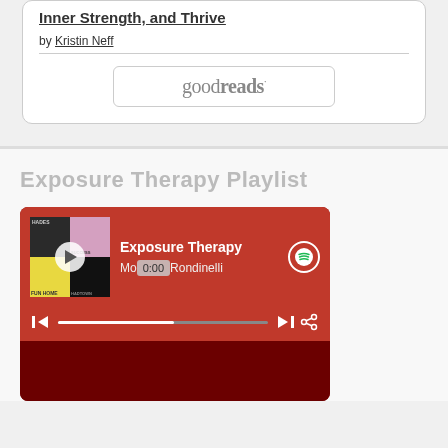Inner Strength, and Thrive
by Kristin Neff
[Figure (logo): goodreads logo button with rounded rectangle border]
Exposure Therapy Playlist
[Figure (screenshot): Spotify embedded player showing 'Exposure Therapy' playlist by Mo Rondinelli, with album art collage, play button, 0:00 time badge, progress bar, skip and share controls, on a dark red background]